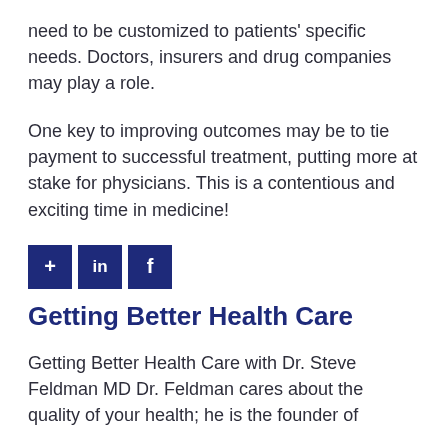need to be customized to patients' specific needs. Doctors, insurers and drug companies may play a role.
One key to improving outcomes may be to tie payment to successful treatment, putting more at stake for physicians. This is a contentious and exciting time in medicine!
[Figure (infographic): Three social sharing buttons: a plus (+) button, a LinkedIn (in) button, and a Facebook (f) button, all in dark navy blue square icons with white symbols.]
Getting Better Health Care
Getting Better Health Care with Dr. Steve Feldman MD Dr. Feldman cares about the quality of your health; he is the founder of